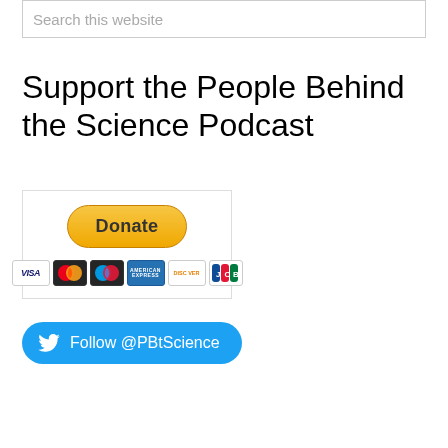Search this website
Support the People Behind the Science Podcast
[Figure (other): PayPal Donate button with payment card icons (Visa, Mastercard, Maestro, American Express, Discover, JCB) inside a bordered box]
[Figure (other): Twitter Follow button with bird icon and text Follow @PBtScience]